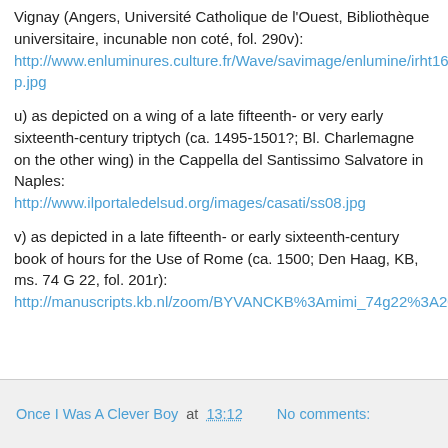Vignay (Angers, Université Catholique de l'Ouest, Bibliothèque universitaire, incunable non coté, fol. 290v): http://www.enluminures.culture.fr/Wave/savimage/enlumine/irht16/IRHT_043130-p.jpg
u) as depicted on a wing of a late fifteenth- or very early sixteenth-century triptych (ca. 1495-1501?; Bl. Charlemagne on the other wing) in the Cappella del Santissimo Salvatore in Naples: http://www.ilportaledelsud.org/images/casati/ss08.jpg
v) as depicted in a late fifteenth- or early sixteenth-century book of hours for the Use of Rome (ca. 1500; Den Haag, KB, ms. 74 G 22, fol. 201r): http://manuscripts.kb.nl/zoom/BYVANCKB%3Amimi_74g22%3A201r
Once I Was A Clever Boy at 13:12    No comments: